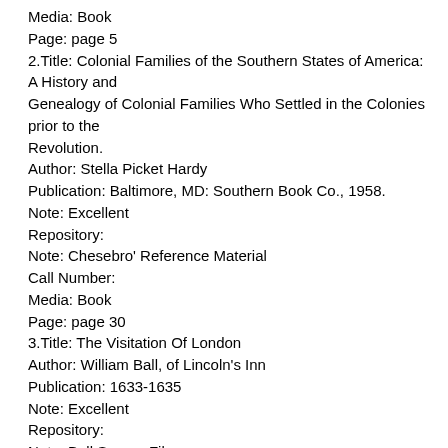Media: Book
Page: page 5
2.Title: Colonial Families of the Southern States of America: A History and Genealogy of Colonial Families Who Settled in the Colonies prior to the Revolution.
Author: Stella Picket Hardy
Publication: Baltimore, MD: Southern Book Co., 1958.
Note: Excellent
Repository:
Note: Chesebro' Reference Material
Call Number:
Media: Book
Page: page 30
3.Title: The Visitation Of London
Author: William Ball, of Lincoln's Inn
Publication: 1633-1635
Note: Excellent
Repository:
Note: Ball Source File
Call Number:
4.Title: IGI, British Isles, v3.06 - 4.02
Author: The Church of Jesus Christ of Latter-day Saints
Publication: FamilySearch™, © 1999-2001 by Intellectual